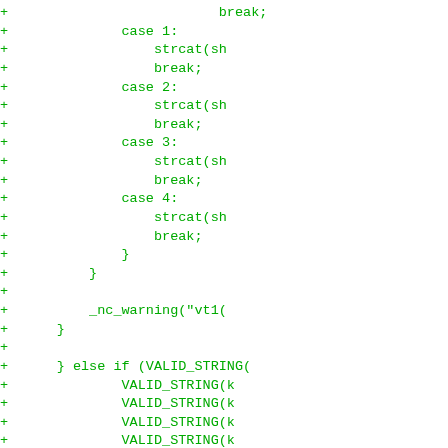Code diff showing additions with + markers, including case statements, strcat, break, _nc_warning, VALID_STRING, show, keypad_index calls